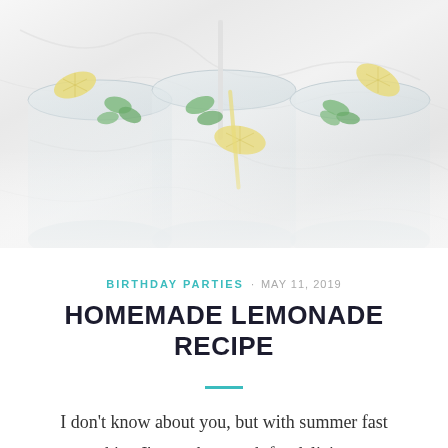[Figure (photo): Top-down view of three glasses of lemonade with lemon slices, mint leaves, and straws on a marble surface]
BIRTHDAY PARTIES · MAY 11, 2019
HOMEMADE LEMONADE RECIPE
I don't know about you, but with summer fast approaching I'm on the search for delicious, easy